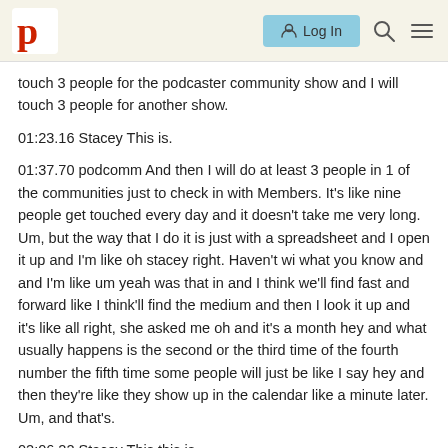Podcastage logo | Log In | Search | Menu
touch 3 people for the podcaster community show and I will touch 3 people for another show.
01:23.16 Stacey This is.
01:37.70 podcomm And then I will do at least 3 people in 1 of the communities just to check in with Members. It's like nine people get touched every day and it doesn't take me very long. Um, but the way that I do it is just with a spreadsheet and I open it up and I'm like oh stacey right. Haven't wi what you know and and I'm like um yeah was that in and I think we'll find fast and forward like I think'll find the medium and then I look it up and it's like all right, she asked me oh and it's a month hey and what usually happens is the second or the third time of the fourth number the fifth time some people will just be like I say hey and then they're like they show up in the calendar like a minute later. Um, and that's.
02:06.22 Stacey This this is.